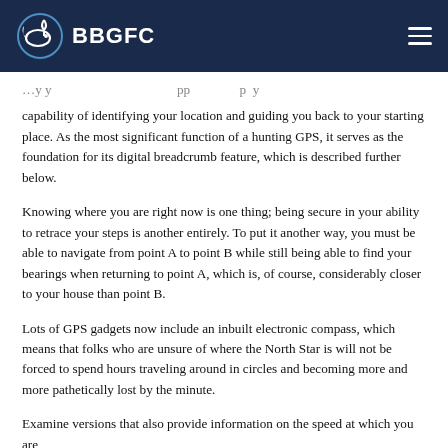BBGFC
capability of identifying your location and guiding you back to your starting place. As the most significant function of a hunting GPS, it serves as the foundation for its digital breadcrumb feature, which is described further below.
Knowing where you are right now is one thing; being secure in your ability to retrace your steps is another entirely. To put it another way, you must be able to navigate from point A to point B while still being able to find your bearings when returning to point A, which is, of course, considerably closer to your house than point B.
Lots of GPS gadgets now include an inbuilt electronic compass, which means that folks who are unsure of where the North Star is will not be forced to spend hours traveling around in circles and becoming more and more pathetically lost by the minute.
Examine versions that also provide information on the speed at which you are